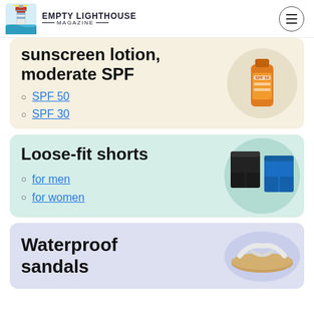EMPTY LIGHTHOUSE MAGAZINE
Sunscreen lotion, moderate SPF
SPF 50
SPF 30
Loose-fit shorts
for men
for women
Waterproof sandals